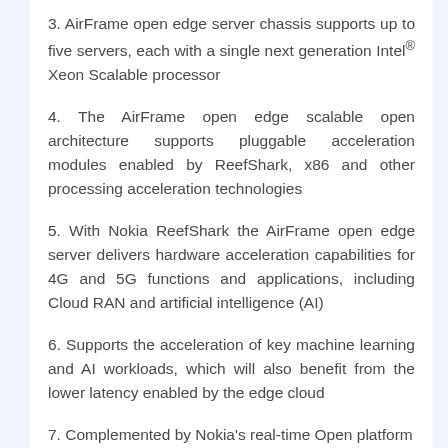3. AirFrame open edge server chassis supports up to five servers, each with a single next generation Intel® Xeon Scalable processor
4. The AirFrame open edge scalable open architecture supports pluggable acceleration modules enabled by ReefShark, x86 and other processing acceleration technologies
5. With Nokia ReefShark the AirFrame open edge server delivers hardware acceleration capabilities for 4G and 5G functions and applications, including Cloud RAN and artificial intelligence (AI)
6. Supports the acceleration of key machine learning and AI workloads, which will also benefit from the lower latency enabled by the edge cloud
7. Complemented by Nokia's real-time Open platform